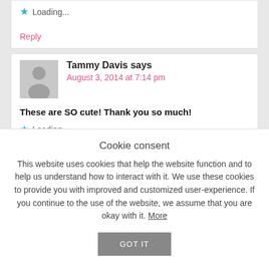★ Loading...
Reply
Tammy Davis says
August 3, 2014 at 7:14 pm
These are SO cute! Thank you so much!
★ Loading...
Cookie consent
This website uses cookies that help the website function and to help us understand how to interact with it. We use these cookies to provide you with improved and customized user-experience. If you continue to the use of the website, we assume that you are okay with it. More
GOT IT